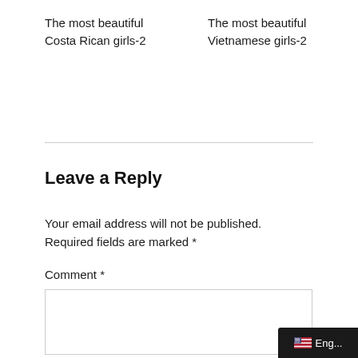The most beautiful Costa Rican girls-2
The most beautiful Vietnamese girls-2
Leave a Reply
Your email address will not be published. Required fields are marked *
Comment *